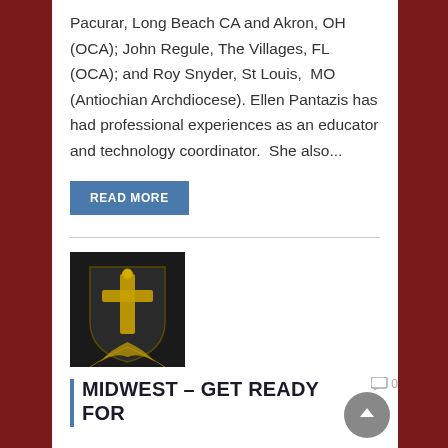Pacurar, Long Beach CA and Akron, OH (OCA); John Regule, The Villages, FL (OCA); and Roy Snyder, St Louis,  MO (Antiochian Archdiocese). Ellen Pantazis has had professional experiences as an educator and technology coordinator.  She also...
READ MORE
[Figure (logo): Orthodox cross emblem with gold cross on dark shield background with decorative feather/quill motif]
MIDWEST – GET READY FOR